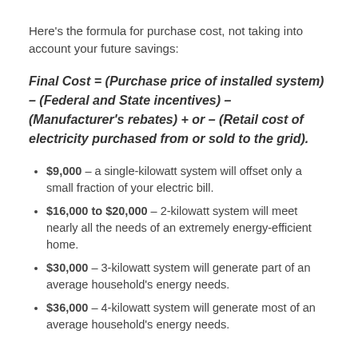Here's the formula for purchase cost, not taking into account your future savings:
$9,000 – a single-kilowatt system will offset only a small fraction of your electric bill.
$16,000 to $20,000 – 2-kilowatt system will meet nearly all the needs of an extremely energy-efficient home.
$30,000 – 3-kilowatt system will generate part of an average household's energy needs.
$36,000 – 4-kilowatt system will generate most of an average household's energy needs.